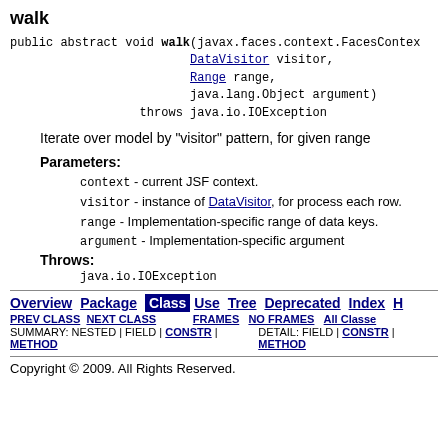walk
public abstract void walk(javax.faces.context.FacesContext context,
                         DataVisitor visitor,
                         Range range,
                         java.lang.Object argument)
                  throws java.io.IOException
Iterate over model by "visitor" pattern, for given range
Parameters:
context - current JSF context.
visitor - instance of DataVisitor, for process each row.
range - Implementation-specific range of data keys.
argument - Implementation-specific argument
Throws:
java.io.IOException
Overview Package Class Use Tree Deprecated Index Help | PREV CLASS NEXT CLASS FRAMES NO FRAMES All Classes | SUMMARY: NESTED | FIELD | CONSTR | METHOD | DETAIL: FIELD | CONSTR | METHOD
Copyright © 2009. All Rights Reserved.